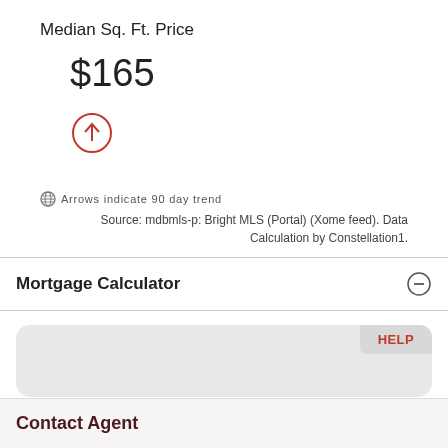Median Sq. Ft. Price
$165
[Figure (infographic): Red circle with upward arrow indicating 90-day trend increase]
Arrows indicate 90 day trend
Source: mdbmls-p: Bright MLS (Portal) (Xome feed). Data Calculation by Constellation1.
Mortgage Calculator
[Figure (screenshot): Mortgage calculator widget area with HELP tab]
Contact Agent